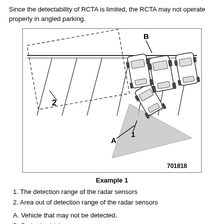Since the detectability of RCTA is limited, the RCTA may not operate properly in angled parking.
[Figure (engineering-diagram): Diagram showing angled parking lot with a vehicle backing out (labeled A), parked vehicles (labeled B), detection range shown as shaded triangle (labeled 1), and area out of detection range shown as dashed rectangle (labeled 2). Image number 701818.]
Example 1
1. The detection range of the radar sensors
2. Area out of detection range of the radar sensors
A. Vehicle that may not be detected.
B. Parked vehicle